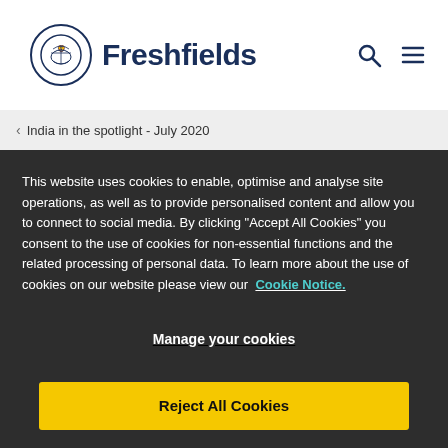[Figure (logo): Freshfields law firm logo: circular emblem with crest and wordmark 'Freshfields' in dark navy]
‹ India in the spotlight - July 2020
This website uses cookies to enable, optimise and analyse site operations, as well as to provide personalised content and allow you to connect to social media. By clicking "Accept All Cookies" you consent to the use of cookies for non-essential functions and the related processing of personal data. To learn more about the use of cookies on our website please view our Cookie Notice.
Manage your cookies
Reject All Cookies